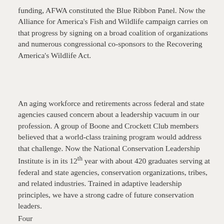funding, AFWA constituted the Blue Ribbon Panel. Now the Alliance for America's Fish and Wildlife campaign carries on that progress by signing on a broad coalition of organizations and numerous congressional co-sponsors to the Recovering America's Wildlife Act.
An aging workforce and retirements across federal and state agencies caused concern about a leadership vacuum in our profession. A group of Boone and Crockett Club members believed that a world-class training program would address that challenge. Now the National Conservation Leadership Institute is in its 12th year with about 420 graduates serving at federal and state agencies, conservation organizations, tribes, and related industries. Trained in adaptive leadership principles, we have a strong cadre of future conservation leaders.
Four skilled, training, best coalition, etc. and ...